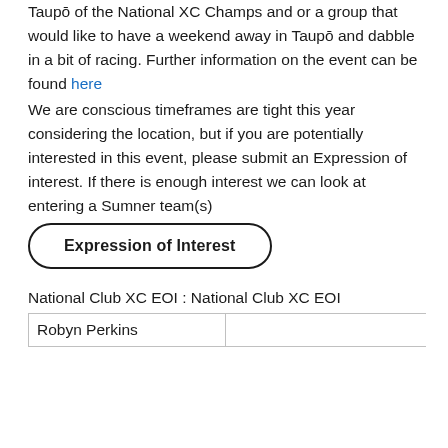Taupō of the National XC Champs and or a group that would like to have a weekend away in Taupō and dabble in a bit of racing. Further information on the event can be found here
We are conscious timeframes are tight this year considering the location, but if you are potentially interested in this event, please submit an Expression of interest. If there is enough interest we can look at entering a Sumner team(s)
[Figure (other): Rounded rectangle button with bold text 'Expression of Interest']
National Club XC EOI : National Club XC EOI
| Robyn Perkins |  |